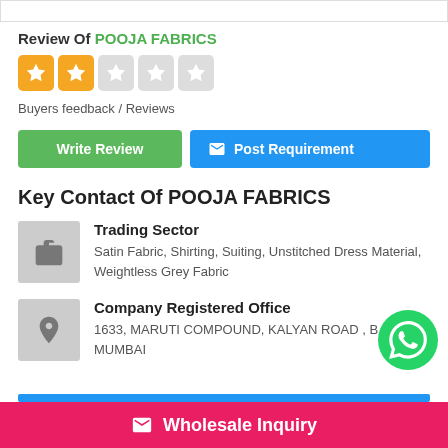Review Of POOJA FABRICS
[Figure (other): 2 filled orange stars and 3 empty grey stars rating]
Buyers feedback / Reviews
Write Review | Post Requirement
Key Contact Of POOJA FABRICS
Trading Sector
Satin Fabric, Shirting, Suiting, Unstitched Dress Material, Weightless Grey Fabric
Company Registered Office
1633, MARUTI COMPOUND, KALYAN ROAD , B... , MUMBAI
Wholesale Inquiry